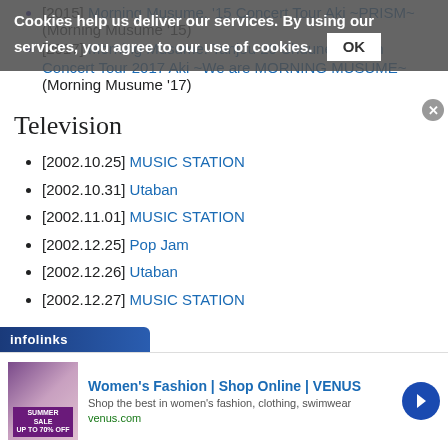[2015] Morning Musume. '15 Concert Tour Aki ~PRISM~ (Morning Musume '15)
[2017] Morning Musume. Tanjou 20 Shuunen Kinen Concert Tour 2017 Aki ~We are MORNING MUSUME~ (Morning Musume '17)
Television
[2002.10.25] MUSIC STATION
[2002.10.31] Utaban
[2002.11.01] MUSIC STATION
[2002.12.25] Pop Jam
[2002.12.26] Utaban
[2002.12.27] MUSIC STATION